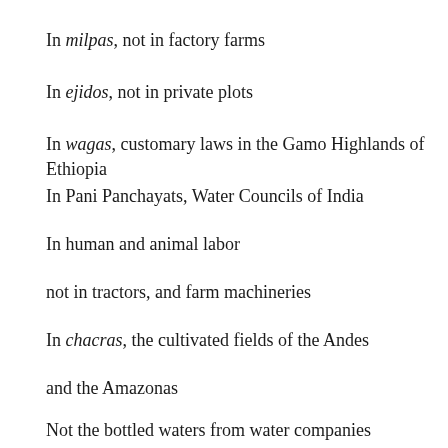In milpas, not in factory farms
In ejidos, not in private plots
In wagas, customary laws in the Gamo Highlands of Ethiopia
In Pani Panchayats, Water Councils of India
In human and animal labor
not in tractors, and farm machineries
In chacras, the cultivated fields of the Andes
and the Amazonas
Not the bottled waters from water companies